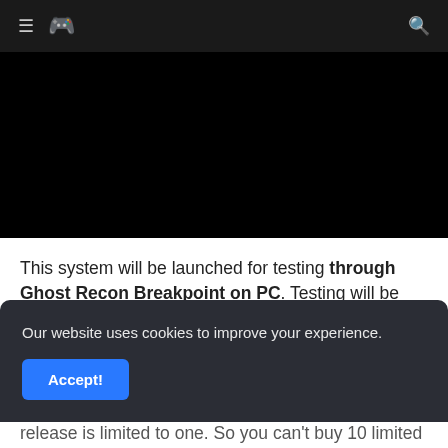≡ [logo] [search]
[Figure (screenshot): Black video player area]
This system will be launched for testing through Ghost Recon Breakpoint on PC. Testing will be limited to regions, and Croatia is not currently among them. There are a few limitations that Ubisoft sets
Our website uses cookies to improve your experience. Accept!
release is limited to one. So you can't buy 10 limited